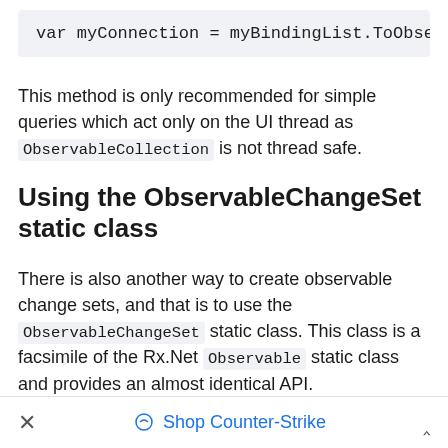var myConnection = myBindingList.ToObserva
This method is only recommended for simple queries which act only on the UI thread as ObservableCollection is not thread safe.
Using the ObservableChangeSet static class
There is also another way to create observable change sets, and that is to use the ObservableChangeSet static class. This class is a facsimile of the Rx.Net Observable static class and provides an almost identical API.
An observable list can be created as follows:
var myObservableList = ObservableChangeSe
× Shop Counter-Strike ^